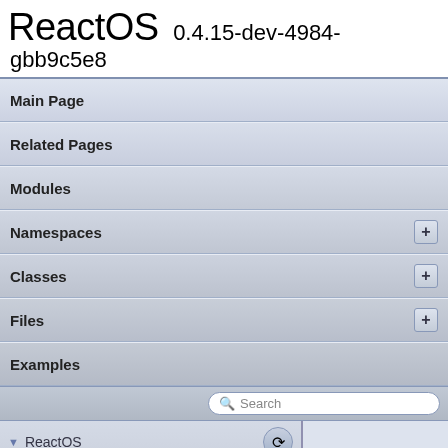ReactOS 0.4.15-dev-4984-gbb9c5e8
Main Page
Related Pages
Modules
Namespaces +
Classes +
Files +
Examples
ReactOS Implementation Notes
vfeventhooks.cp
sdk  lib  drivers  wdf  shared  enhancedverif